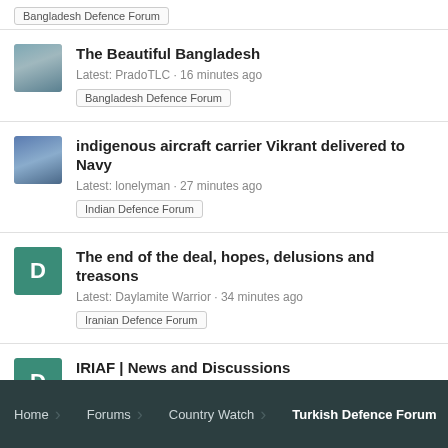Bangladesh Defence Forum (tag, top)
The Beautiful Bangladesh
Latest: PradoTLC · 16 minutes ago
Bangladesh Defence Forum
indigenous aircraft carrier Vikrant delivered to Navy
Latest: lonelyman · 27 minutes ago
Indian Defence Forum
The end of the deal, hopes, delusions and treasons
Latest: Daylamite Warrior · 34 minutes ago
Iranian Defence Forum
IRIAF | News and Discussions
Latest: Daylamite Warrior · 43 minutes ago
Iranian Defence Forum
Home  Forums  Country Watch  Turkish Defence Forum